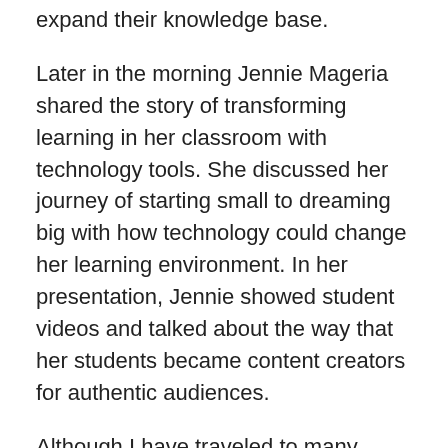expand their knowledge base.
Later in the morning Jennie Mageria shared the story of transforming learning in her classroom with technology tools. She discussed her journey of starting small to dreaming big with how technology could change her learning environment. In her presentation, Jennie showed student videos and talked about the way that her students became content creators for authentic audiences.
Although I have traveled to many fantastic education conferences, this was the largest international event I've had the pleasure to both attend and present. EduTECH was well-organized and featured speakers from around the world. It was very exciting to see so many passionate educators share big ideas and stories from their own classrooms. As I always find at conferences, the voices off the stage are just as